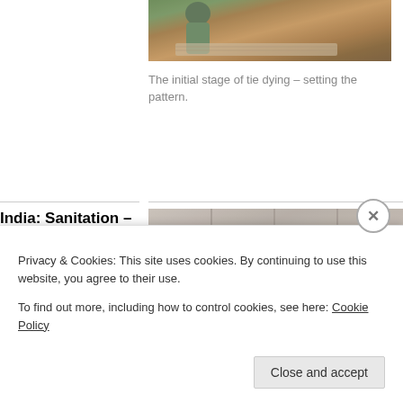[Figure (photo): Person working on tie-dye fabric on the floor, partial view at top of page]
The initial stage of tie dying – setting the pattern.
India: Sanitation – Photos
April 29, 2012
—
Adventure, India, Photo
[Figure (photo): Tiled floor/ceiling photo related to sanitation in India]
Privacy & Cookies: This site uses cookies. By continuing to use this website, you agree to their use.
To find out more, including how to control cookies, see here: Cookie Policy
Close and accept